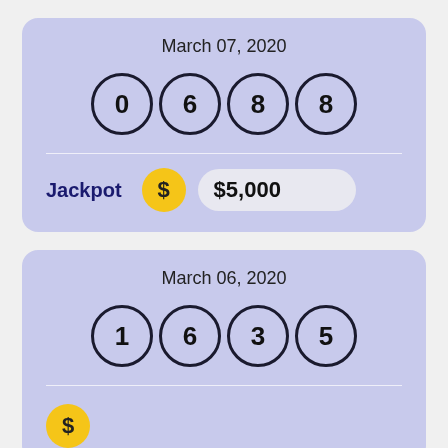March 07, 2020
[Figure (infographic): Four lottery balls showing numbers 0, 6, 8, 8]
Jackpot $5,000
March 06, 2020
[Figure (infographic): Four lottery balls showing numbers 1, 6, 3, 5]
Amount (partially visible)